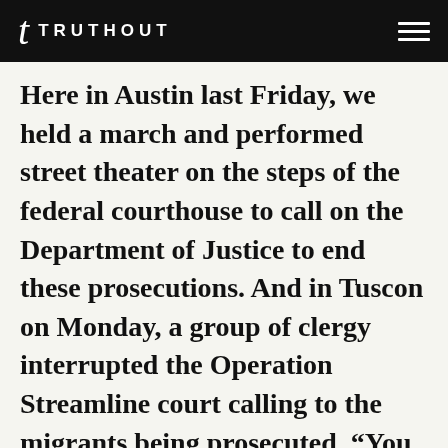t TRUTHOUT
Here in Austin last Friday, we held a march and performed street theater on the steps of the federal courthouse to call on the Department of Justice to end these prosecutions. And in Tuscon on Monday, a group of clergy interrupted the Operation Streamline court calling to the migrants being prosecuted, “You are not guilty, this court is guilty,” and reading verses from the Bible. They were then escorted out of the building. This Friday there is also a march planned in McAllen on International Migrants Day that will focus on ending Operation